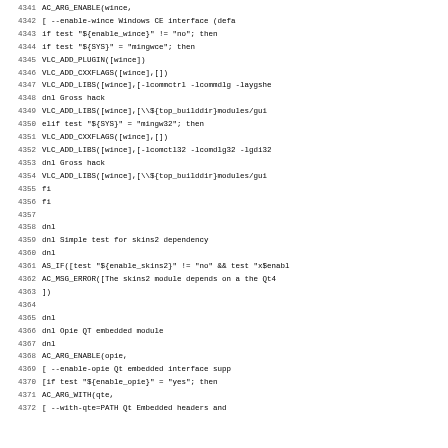Source code listing lines 4341-4372, configure.ac script for VLC media player
4341 AC_ARG_ENABLE(wince,
4342   [  --enable-wince        Windows CE interface (defa
4343 if test "${enable_wince}" != "no"; then
4344   if test "${SYS}" = "mingwce"; then
4345     VLC_ADD_PLUGIN([wince])
4346     VLC_ADD_CXXFLAGS([wince],[])
4347     VLC_ADD_LIBS([wince],[-lcommctrl -lcommdlg -laygshe
4348     dnl Gross hack
4349     VLC_ADD_LIBS([wince],[\\${top_builddir}modules/gui
4350   elif test "${SYS}" = "mingw32"; then
4351     VLC_ADD_CXXFLAGS([wince],[])
4352     VLC_ADD_LIBS([wince],[-lcomctl32 -lcomdlg32 -lgdi32
4353     dnl Gross hack
4354     VLC_ADD_LIBS([wince],[\\${top_builddir}modules/gui
4355   fi
4356 fi
4357
4358 dnl
4359 dnl Simple test for skins2 dependency
4360 dnl
4361 AS_IF([test "${enable_skins2}" != "no" && test "x$enabl
4362   AC_MSG_ERROR([The skins2 module depends on a the Qt4
4363 ])
4364
4365 dnl
4366 dnl  Opie QT embedded module
4367 dnl
4368 AC_ARG_ENABLE(opie,
4369   [  --enable-opie          Qt embedded interface supp
4370   [if test "${enable_opie}" = "yes"; then
4371     AC_ARG_WITH(qte,
4372     [    --with-qte=PATH        Qt Embedded headers and